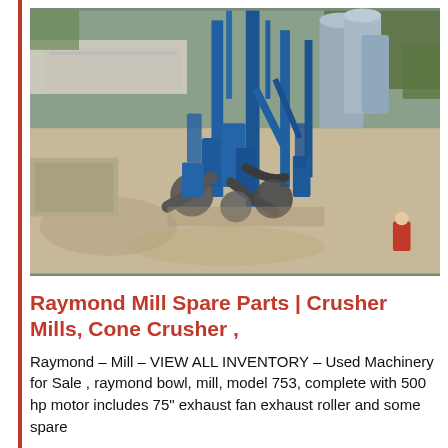[Figure (photo): Aerial view of an industrial milling facility with blue equipment, large cylindrical silos, conveyors, and processing machinery on a dirt/gravel yard, with trees and a building in the background.]
Raymond Mill Spare Parts | Crusher Mills, Cone Crusher ,
Raymond – Mill – VIEW ALL INVENTORY – Used Machinery for Sale , raymond bowl, mill, model 753, complete with 500 hp motor includes 75" exhaust fan exhaust roller and some spare